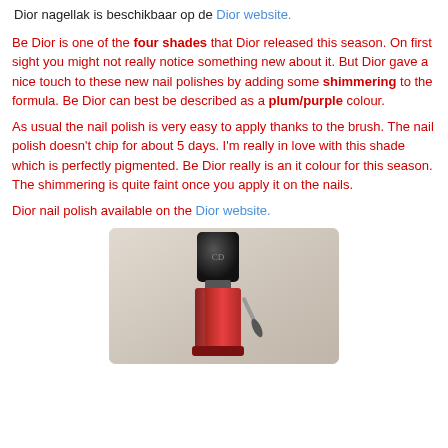Dior nagellak is beschikbaar op de Dior website.
Be Dior is one of the four shades that Dior released this season. On first sight you might not really notice something new about it. But Dior gave a nice touch to these new nail polishes by adding some shimmering to the formula. Be Dior can best be described as a plum/purple colour.
As usual the nail polish is very easy to apply thanks to the brush. The nail polish doesn’t chip for about 5 days. I’m really in love with this shade which is perfectly pigmented. Be Dior really is an it colour for this season. The shimmering is quite faint once you apply it on the nails.
Dior nail polish available on the Dior website.
[Figure (photo): Photo of a Dior nail polish bottle (Be Dior, plum/purple shade) showing the black cap and red bottle body against a stone/marble background.]